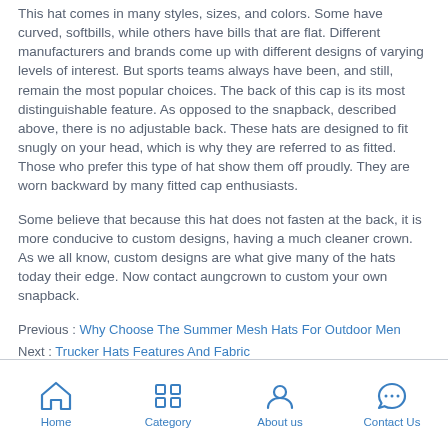This hat comes in many styles, sizes, and colors. Some have curved, softbills, while others have bills that are flat. Different manufacturers and brands come up with different designs of varying levels of interest. But sports teams always have been, and still, remain the most popular choices. The back of this cap is its most distinguishable feature. As opposed to the snapback, described above, there is no adjustable back. These hats are designed to fit snugly on your head, which is why they are referred to as fitted. Those who prefer this type of hat show them off proudly. They are worn backward by many fitted cap enthusiasts.
Some believe that because this hat does not fasten at the back, it is more conducive to custom designs, having a much cleaner crown. As we all know, custom designs are what give many of the hats today their edge. Now contact aungcrown to custom your own snapback.
Previous : Why Choose The Summer Mesh Hats For Outdoor Men
Next : Trucker Hats Features And Fabric
Home  Category  About us  Contact Us